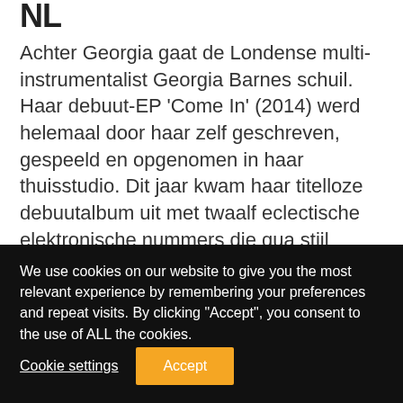NL
Achter Georgia gaat de Londense multi-instrumentalist Georgia Barnes schuil. Haar debuut-EP 'Come In' (2014) werd helemaal door haar zelf geschreven, gespeeld en opgenomen in haar thuisstudio. Dit jaar kwam haar titelloze debuutalbum uit met twaalf eclectische elektronische nummers die qua stijl ergens tussen MIA en Hudson Mohawke in zitten. Als 'bijbaantje' drumt Georgia Barnes bij Kwes enKate Tempest.
We use cookies on our website to give you the most relevant experience by remembering your preferences and repeat visits. By clicking “Accept”, you consent to the use of ALL the cookies.
Cookie settings  Accept